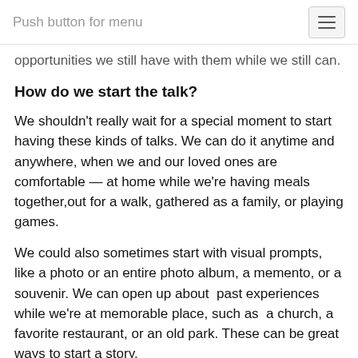Push button for menu
opportunities we still have with them while we still can.
How do we start the talk?
We shouldn't really wait for a special moment to start having these kinds of talks. We can do it anytime and anywhere, when we and our loved ones are comfortable — at home while we're having meals together,out for a walk, gathered as a family, or playing games.
We could also sometimes start with visual prompts, like a photo or an entire photo album, a memento, or a souvenir. We can open up about past experiences while we're at memorable place, such as a church, a favorite restaurant, or an old park. These can be great ways to start a story.
May we always treasure every moment of our lives and have meaningful conversations with the ones we love